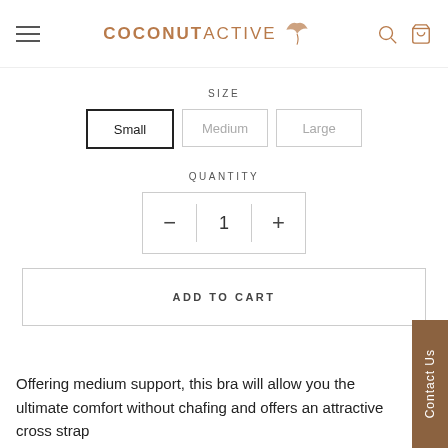COCONUTACTIVE (logo with navigation and cart icons)
SIZE
Small | Medium | Large
QUANTITY
- 1 +
ADD TO CART
Offering medium support, this bra will allow you the ultimate comfort without chafing and offers an attractive cross strap